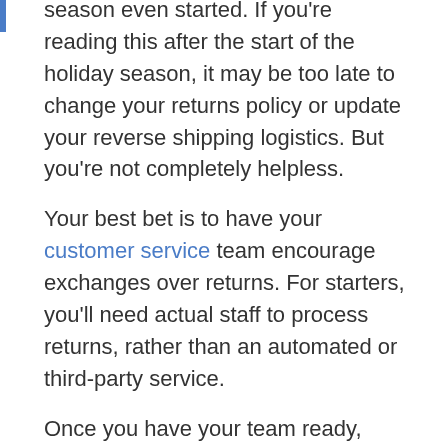season even started. If you're reading this after the start of the holiday season, it may be too late to change your returns policy or update your reverse shipping logistics. But you're not completely helpless.
Your best bet is to have your customer service team encourage exchanges over returns. For starters, you'll need actual staff to process returns, rather than an automated or third-party service.
Once you have your team ready, train them in the top techniques to win over even the most irate customer. The best customer service techniques have been discussed before, so review them again if you're unfamiliar. As soon as your staff can speak to customers on their level, the customers may be more open to suggestions, possibly changing their return to an exchange, a win-win compromise that benefits both parties.